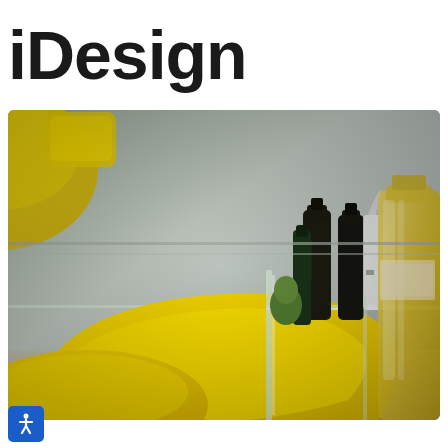iDesign
[Figure (photo): Close-up photo of a kitchen cabinet or drawer organizer showing yellow plastic bowls and plates stored in a clear acrylic organizer, alongside glass bottles of olive oil and other condiments, on a metallic shelf background.]